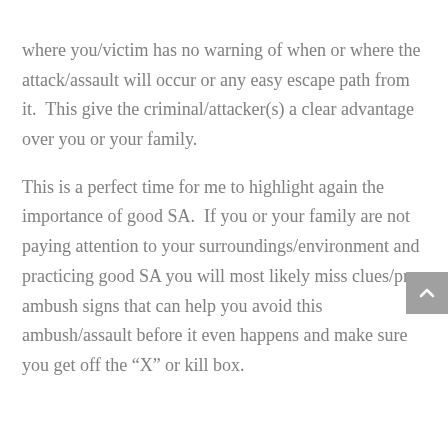where you/victim has no warning of when or where the attack/assault will occur or any easy escape path from it.  This give the criminal/attacker(s) a clear advantage over you or your family.
This is a perfect time for me to highlight again the importance of good SA.  If you or your family are not paying attention to your surroundings/environment and practicing good SA you will most likely miss clues/pre-ambush signs that can help you avoid this ambush/assault before it even happens and make sure you get off the “X” or kill box.